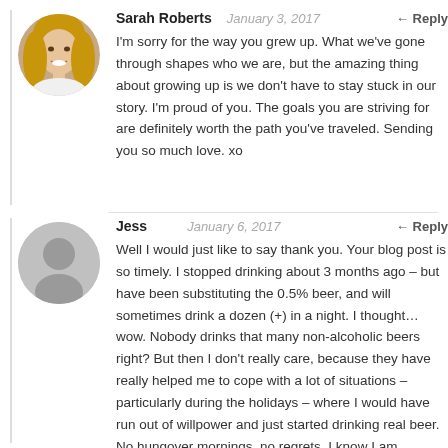[Figure (photo): Circular avatar photo of Sarah Roberts, a woman with long blonde hair, smiling]
Sarah Roberts January 3, 2017 ← Reply
I'm sorry for the way you grew up. What we've gone through shapes who we are, but the amazing thing about growing up is we don't have to stay stuck in our story. I'm proud of you. The goals you are striving for are definitely worth the path you've traveled. Sending you so much love. xo
[Figure (illustration): Circular generic placeholder avatar (grey silhouette of a person on grey background)]
Jess January 6, 2017 ← Reply
Well I would just like to say thank you. Your blog post is so timely. I stopped drinking about 3 months ago – but have been substituting the 0.5% beer, and will sometimes drink a dozen (+) in a night. I thought… wow. Nobody drinks that many non-alcoholic beers right? But then I don't really care, because they have really helped me to cope with a lot of situations – particularly during the holidays – where I would have run out of willpower and just started drinking real beer. No hungover mornings, no regrets. I know I am